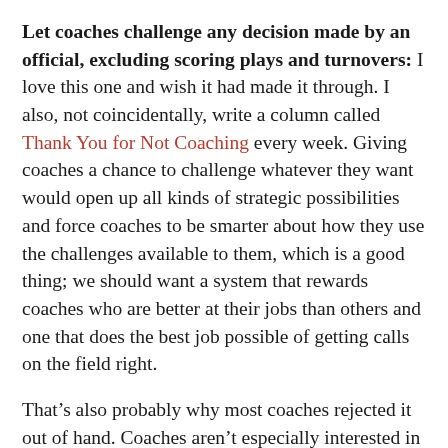Let coaches challenge any decision made by an official, excluding scoring plays and turnovers: I love this one and wish it had made it through. I also, not coincidentally, write a column called Thank You for Not Coaching every week. Giving coaches a chance to challenge whatever they want would open up all kinds of strategic possibilities and force coaches to be smarter about how they use the challenges available to them, which is a good thing; we should want a system that rewards coaches who are better at their jobs than others and one that does the best job possible of getting calls on the field right.
That’s also probably why most coaches rejected it out of hand. Coaches aren’t especially interested in making this aspect of their job harder, and are more likely to be concerned with the flak they’ll take for incorrectly challenging the wrong play. They haven’t really exhibited a